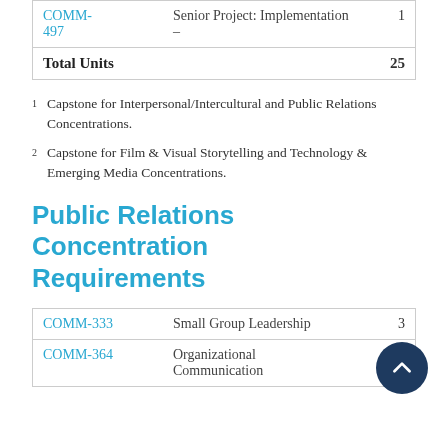| Course | Name | Units |
| --- | --- | --- |
| COMM-497 | Senior Project: Implementation – | 1 |
| Total Units |  | 25 |
1 Capstone for Interpersonal/Intercultural and Public Relations Concentrations.
2 Capstone for Film & Visual Storytelling and Technology & Emerging Media Concentrations.
Public Relations Concentration Requirements
| Course | Name | Units |
| --- | --- | --- |
| COMM-333 | Small Group Leadership | 3 |
| COMM-364 | Organizational Communication | 3 |